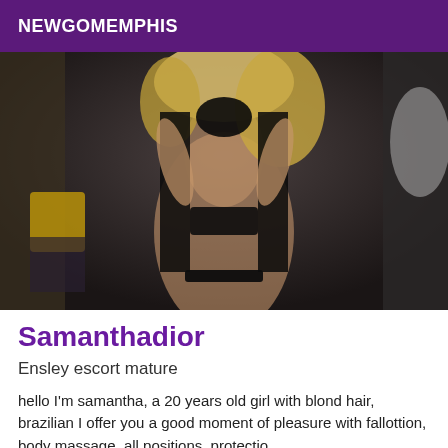NEWGOMEMPHIS
[Figure (photo): A blonde woman posing in black lingerie and a black lace robe in a dimly lit room]
Samanthadior
Ensley escort mature
hello I'm samantha, a 20 years old girl with blond hair, brazilian I offer you a good moment of pleasure with fallottion, body massage, all positions, protectio...